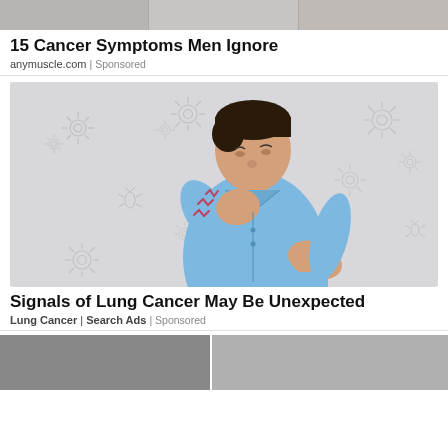[Figure (photo): Top strip showing partial images of people, cropped]
15 Cancer Symptoms Men Ignore
anymuscle.com | Sponsored
[Figure (illustration): Illustration of a man in a blue shirt coughing/holding his chest, with grey virus/germ icons floating in the background on a light grey background]
Signals of Lung Cancer May Be Unexpected
Lung Cancer | Search Ads | Sponsored
[Figure (photo): Bottom strip showing two partial photos side by side, partially cut off]